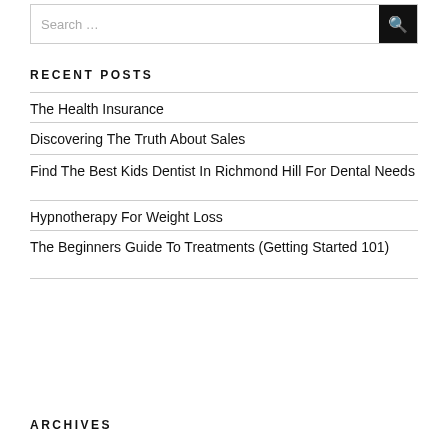Search …
RECENT POSTS
The Health Insurance
Discovering The Truth About Sales
Find The Best Kids Dentist In Richmond Hill For Dental Needs
Hypnotherapy For Weight Loss
The Beginners Guide To Treatments (Getting Started 101)
ARCHIVES